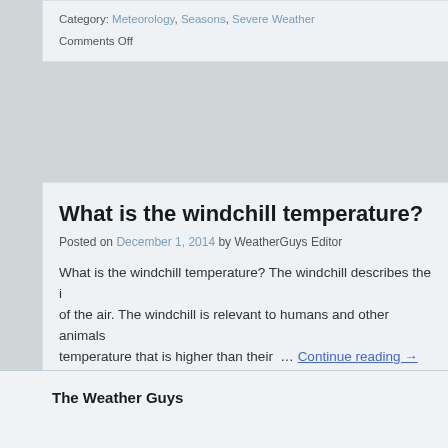Category: Meteorology, Seasons, Severe Weather
Comments Off
What is the windchill temperature?
Posted on December 1, 2014 by WeatherGuys Editor
What is the windchill temperature? The windchill describes the i… of the air. The windchill is relevant to humans and other animals temperature that is higher than their … Continue reading →
Category: Meteorology, Seasons
Comments Off
The Weather Guys